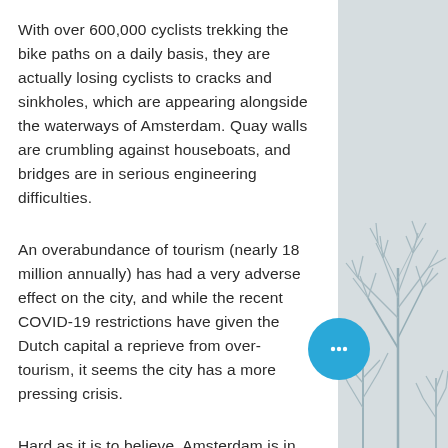With over 600,000 cyclists trekking the bike paths on a daily basis, they are actually losing cyclists to cracks and sinkholes, which are appearing alongside the waterways of Amsterdam. Quay walls are crumbling against houseboats, and bridges are in serious engineering difficulties.
An overabundance of tourism (nearly 18 million annually) has had a very adverse effect on the city, and while the recent COVID-19 restrictions have given the Dutch capital a reprieve from over-tourism, it seems the city has a more pressing crisis.
Hard as it is to believe, Amsterdam is in danger of crumbling into the water it was built on.
[Figure (illustration): Silhouette illustration of bare winter trees against a light blue-grey background panel on the right side of the page.]